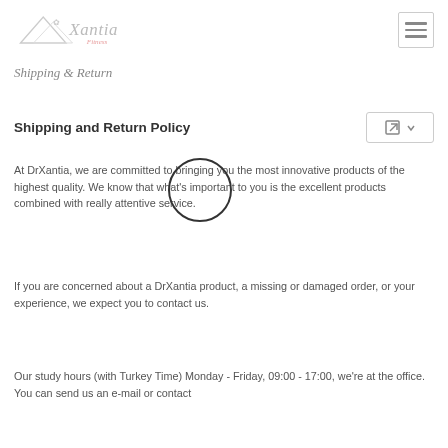Xantia Fitness logo and navigation
Shipping & Return
Shipping and Return Policy
At DrXantia, we are committed to bringing you the most innovative products of the highest quality. We know that what's important to you is the excellent products combined with really attentive service.
If you are concerned about a DrXantia product, a missing or damaged order, or your experience, we expect you to contact us.
Our study hours (with Turkey Time) Monday - Friday, 09:00 - 17:00, we're at the office. You can send us an e-mail or contact